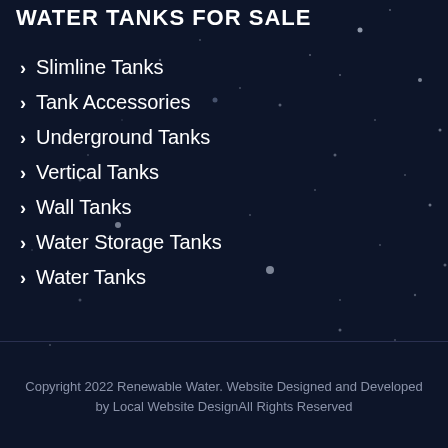WATER TANKS FOR SALE
Slimline Tanks
Tank Accessories
Underground Tanks
Vertical Tanks
Wall Tanks
Water Storage Tanks
Water Tanks
Copyright 2022 Renewable Water. Website Designed and Developed by Local Website DesignAll Rights Reserved